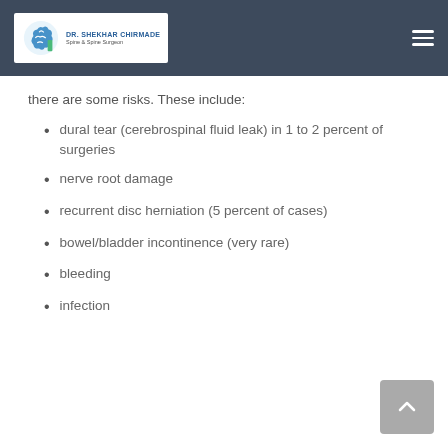DR. SHEKHAR CHIRMADE
there are some risks. These include:
dural tear (cerebrospinal fluid leak) in 1 to 2 percent of surgeries
nerve root damage
recurrent disc herniation (5 percent of cases)
bowel/bladder incontinence (very rare)
bleeding
infection